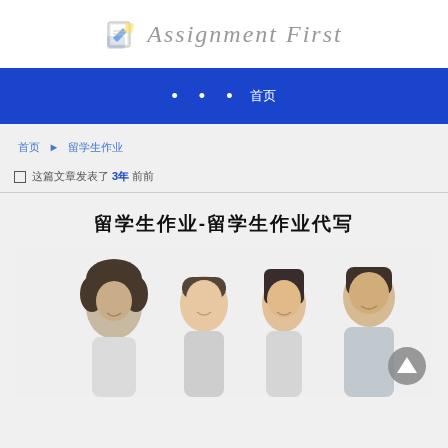[Figure (logo): Assignment First logo with notepad icon and handwritten-style text]
• • •  首页
首页 ► 留学生作业
□ 这篇文章发表了 3年 前前
留学生作业-留学生作业代写
[Figure (photo): Group of four diverse smiling students in black and white photo]